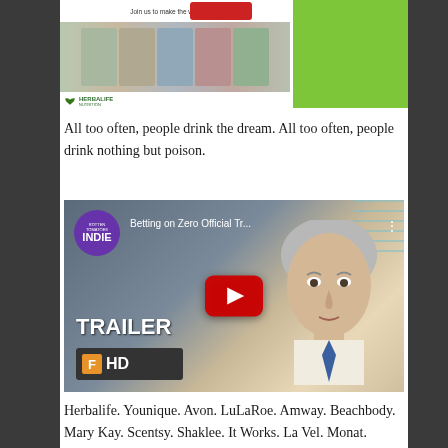[Figure (screenshot): Herbalife Nutrition banner advertisement with tagline 'Join us to make the world health...' and a green box to the right. Banner shows multiple photos of people with healthy drinks and the Herbalife Nutrition logo.]
All too often, people drink the dream. All too often, people drink nothing but poison.
[Figure (screenshot): YouTube video thumbnail for 'Betting on Zero Official Tr...' showing a gray-haired man in a suit and tie, with INDIE badge (purple circle), TRAILER text, Fandango HD badge, and a red YouTube play button.]
Herbalife. Younique. Avon. LuLaRoe. Amway. Beachbody. Mary Kay. Scentsy. Shaklee. It Works. La Vel. Monat. DoTerra. Young Living. Optavia. Norwex. Color Street. There are dozens more, rising and collapsing every few years. They promise you the